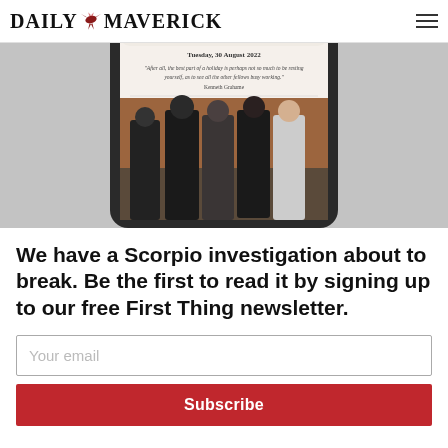DAILY MAVERICK
[Figure (screenshot): A smartphone displaying the First Thing newsletter dated Tuesday, 30 August 2022, with a quote from Kenneth Grahame and a photograph of men in suits standing in what appears to be a courtroom or formal setting.]
We have a Scorpio investigation about to break. Be the first to read it by signing up to our free First Thing newsletter.
Your email
Subscribe